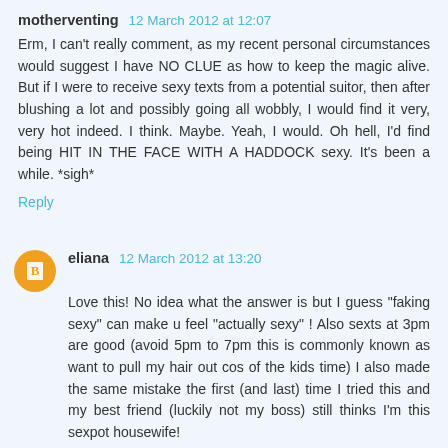motherventing 12 March 2012 at 12:07
Erm, I can't really comment, as my recent personal circumstances would suggest I have NO CLUE as how to keep the magic alive. But if I were to receive sexy texts from a potential suitor, then after blushing a lot and possibly going all wobbly, I would find it very, very hot indeed. I think. Maybe. Yeah, I would. Oh hell, I'd find being HIT IN THE FACE WITH A HADDOCK sexy. It's been a while. *sigh*
Reply
eliana 12 March 2012 at 13:20
Love this! No idea what the answer is but I guess "faking sexy" can make u feel "actually sexy" ! Also sexts at 3pm are good (avoid 5pm to 7pm this is commonly known as want to pull my hair out cos of the kids time) I also made the same mistake the first (and last) time I tried this and my best friend (luckily not my boss) still thinks I'm this sexpot housewife!
Reply